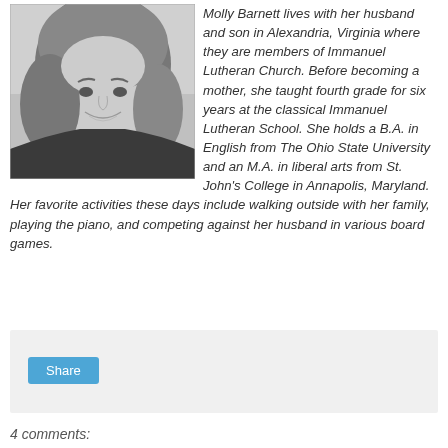[Figure (photo): Black and white portrait photo of Molly Barnett, a woman smiling, with wavy hair, cropped at shoulders]
Molly Barnett lives with her husband and son in Alexandria, Virginia where they are members of Immanuel Lutheran Church. Before becoming a mother, she taught fourth grade for six years at the classical Immanuel Lutheran School. She holds a B.A. in English from The Ohio State University and an M.A. in liberal arts from St. John's College in Annapolis, Maryland. Her favorite activities these days include walking outside with her family, playing the piano, and competing against her husband in various board games.